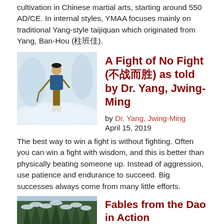cultivation in Chinese martial arts, starting around 550 AD/CE. In internal styles, YMAA focuses mainly on traditional Yang-style taijiquan which originated from Yang, Ban-Hou (楊班侯).
[Figure (photo): Person walking in snowy winter scene, wearing a blue jacket and brown pants with boots]
A Fight of No Fight (不戰而勝) as told by Dr. Yang, Jwing-Ming
by Dr. Yang, Jwing-Ming
April 15, 2019
The best way to win a fight is without fighting. Often you can win a fight with wisdom, and this is better than physically beating someone up. Instead of aggression, use patience and endurance to succeed. Big successes always come from many little efforts.
[Figure (photo): Winter forest scene with snowy trees and a winding path through snow-covered landscape with a wooden post/sign]
Fables from the Dao in Action
by Dr. Yang, Jwing-Ming
March 25, 2019
There were two young friends who decided to leave their village and go to the city to make their fortune. They worked hard for thirty years and each friend successfully earned a good amount of money. They decided to return to their village to enjoy their earnings and the rest of their